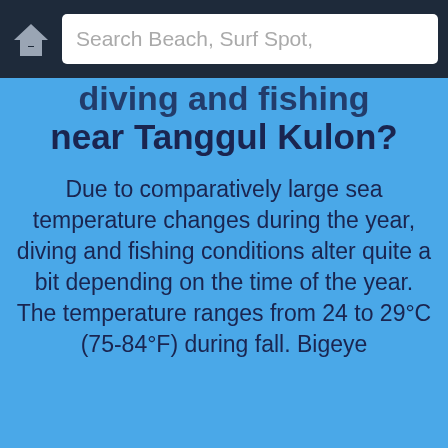Search Beach, Surf Spot,
diving and fishing near Tanggul Kulon?
Due to comparatively large sea temperature changes during the year, diving and fishing conditions alter quite a bit depending on the time of the year. The temperature ranges from 24 to 29°C (75-84°F) during fall. Bigeye